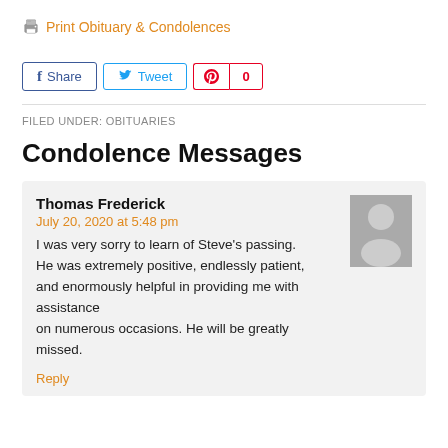Print Obituary & Condolences
[Figure (infographic): Social sharing buttons: Facebook Share, Twitter Tweet, Pinterest with count 0]
FILED UNDER: OBITUARIES
Condolence Messages
Thomas Frederick
July 20, 2020 at 5:48 pm
I was very sorry to learn of Steve's passing. He was extremely positive, endlessly patient, and enormously helpful in providing me with assistance on numerous occasions. He will be greatly missed.
Reply